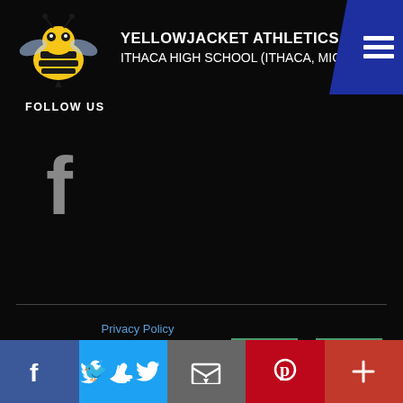YELLOWJACKET ATHLETICS
ITHACA HIGH SCHOOL (ITHACA, MICHIGAN)
FOLLOW US
[Figure (logo): Facebook 'f' logo in gray]
Privacy Policy
End User Agreement
[Figure (logo): BigTeams and No.1 Sports badges/logos]
The official website of Ithaca High School Athletics
[Figure (infographic): Bottom social sharing bar with Facebook, Twitter, Email, Pinterest, and More buttons]